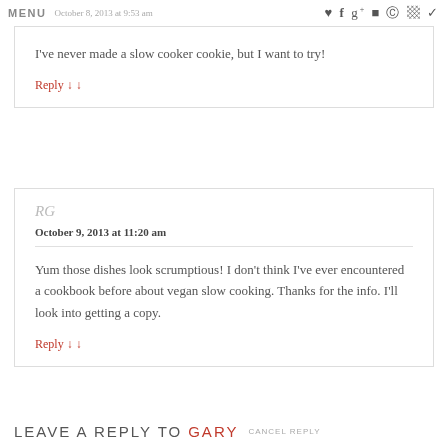MENU  October 8, 2013 at 9:53 am
I've never made a slow cooker cookie, but I want to try!
Reply ↓
RG
October 9, 2013 at 11:20 am
Yum those dishes look scrumptious! I don't think I've ever encountered a cookbook before about vegan slow cooking. Thanks for the info. I'll look into getting a copy.
Reply ↓
LEAVE A REPLY TO GARY  CANCEL REPLY